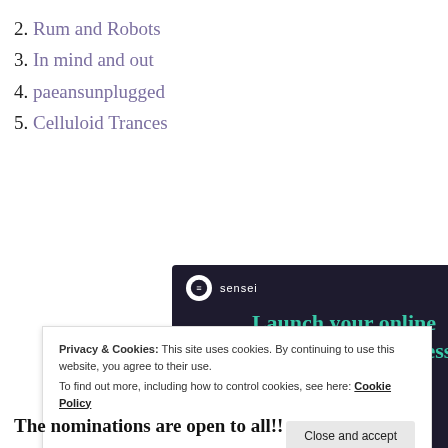2. Rum and Robots
3. In mind and out
4. paeansunplugged
5. Celluloid Trances
[Figure (screenshot): Sensei advertisement banner with dark navy background. Shows Sensei logo (circle with icon and 'sensei' text), headline 'Launch your online course with WordPress' in teal, and a 'Learn More' button in teal.]
Privacy & Cookies: This site uses cookies. By continuing to use this website, you agree to their use.
To find out more, including how to control cookies, see here: Cookie Policy
Close and accept
The nominations are open to all!!